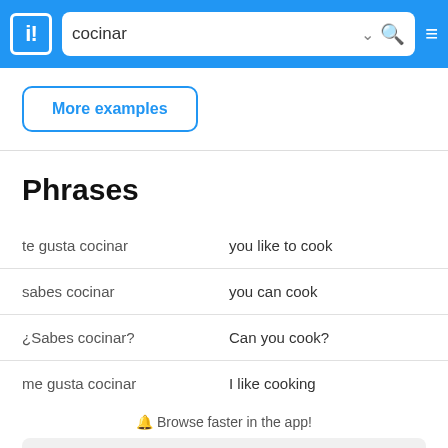cocinar — search bar with logo and hamburger menu
More examples
Phrases
te gusta cocinar — you like to cook
sabes cocinar — you can cook
¿Sabes cocinar? — Can you cook?
me gusta cocinar — I like cooking
🔔 Browse faster in the app!